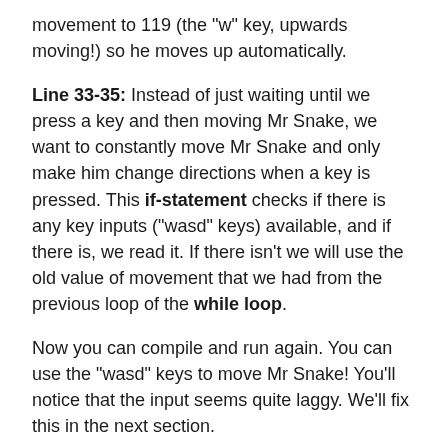movement to 119 (the "w" key, upwards moving!) so he moves up automatically.
Line 33-35: Instead of just waiting until we press a key and then moving Mr Snake, we want to constantly move Mr Snake and only make him change directions when a key is pressed. This if-statement checks if there is any key inputs ("wasd" keys) available, and if there is, we read it. If there isn't we will use the old value of movement that we had from the previous loop of the while loop.
Now you can compile and run again. You can use the "wasd" keys to move Mr Snake! You'll notice that the input seems quite laggy. We'll fix this in the next section.
You're ready to proceed! It's now time to make Mr Snake grow, by feeding him.